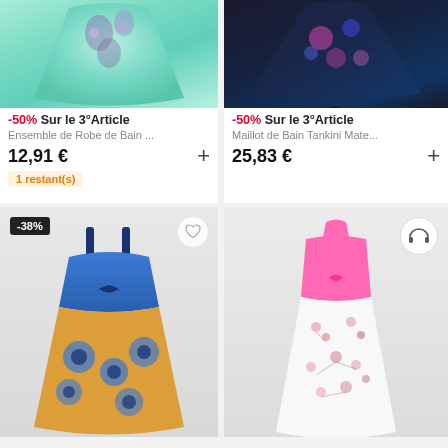[Figure (photo): Green floral print swimdress, top portion visible]
-50% Sur le 3°Article
Ensemble de Robe de Bain ...
12,91 €
1 restant(s)
[Figure (photo): Dark navy/black floral print poncho-style swimsuit top]
-50% Sur le 3°Article
Maillot de Bain Tankini Mate...
25,83 €
[Figure (photo): Blue and yellow sunflower print tankini with navy bow, -38% badge]
[Figure (photo): Pink halter top with white floral print skirt swimdress, headphone icon overlay]